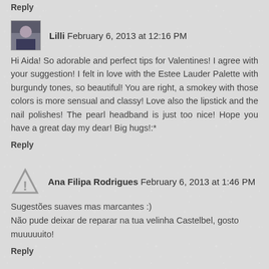Reply
Lilli  February 6, 2013 at 12:16 PM
Hi Aida! So adorable and perfect tips for Valentines! I agree with your suggestion! I felt in love with the Estee Lauder Palette with burgundy tones, so beautiful! You are right, a smokey with those colors is more sensual and classy! Love also the lipstick and the nail polishes! The pearl headband is just too nice! Hope you have a great day my dear! Big hugs!:*
Reply
Ana Filipa Rodrigues  February 6, 2013 at 1:46 PM
Sugestões suaves mas marcantes :)
Não pude deixar de reparar na tua velinha Castelbel, gosto muuuuuito!
Reply